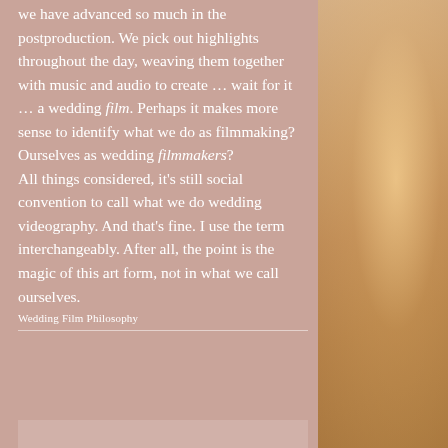we have advanced so much in the postproduction. We pick out highlights throughout the day, weaving them together with music and audio to create … wait for it … a wedding film. Perhaps it makes more sense to identify what we do as filmmaking? Ourselves as wedding filmmakers?
All things considered, it's still social convention to call what we do wedding videography. And that's fine. I use the term interchangeably. After all, the point is the magic of this art form, not in what we call ourselves.
Wedding Film Philosophy
[Figure (photo): Blurred warm-toned photo of a person, softly lit with golden bokeh, occupying the right portion of the page]